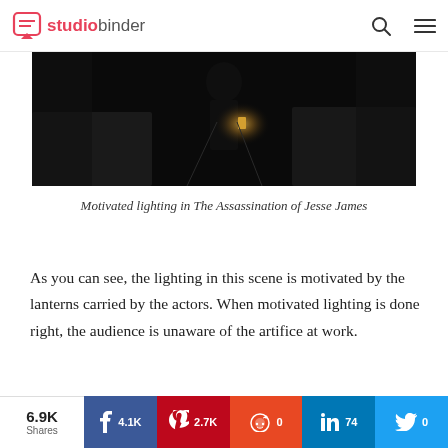studiobinder
[Figure (photo): Dark cinematic scene from The Assassination of Jesse James showing silhouetted figures with a lantern light source]
Motivated lighting in The Assassination of Jesse James
As you can see, the lighting in this scene is motivated by the lanterns carried by the actors. When motivated lighting is done right, the audience is unaware of the artifice at work.
6.9K Shares | Facebook 4.1K | Pinterest 2.7K | Reddit 0 | LinkedIn 74 | Twitter 0